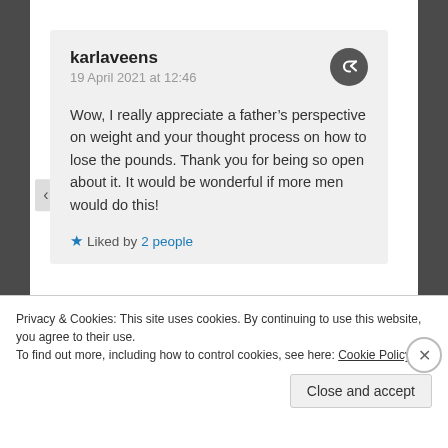karlaveens
19 April 2021 at 12:46
Wow, I really appreciate a father’s perspective on weight and your thought process on how to lose the pounds. Thank you for being so open about it. It would be wonderful if more men would do this!
★ Liked by 2 people
H Rody
Privacy & Cookies: This site uses cookies. By continuing to use this website, you agree to their use.
To find out more, including how to control cookies, see here: Cookie Policy
Close and accept